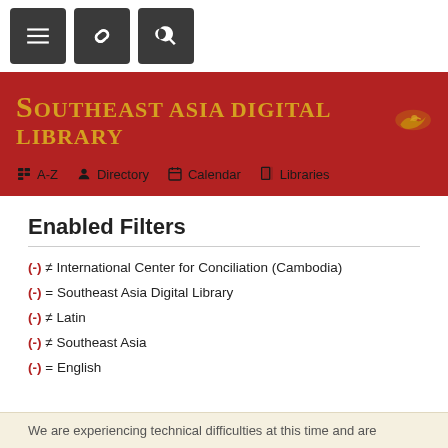[Figure (screenshot): Top navigation bar with three dark square icon buttons: hamburger menu, link/chain icon, and search icon]
[Figure (screenshot): Red banner header with Southeast Asia Digital Library gold serif title and decorative icon, with navigation links A-Z, Directory, Calendar, Libraries]
Enabled Filters
(-) ≠ International Center for Conciliation (Cambodia)
(-) = Southeast Asia Digital Library
(-) ≠ Latin
(-) ≠ Southeast Asia
(-) = English
We are experiencing technical difficulties at this time and are